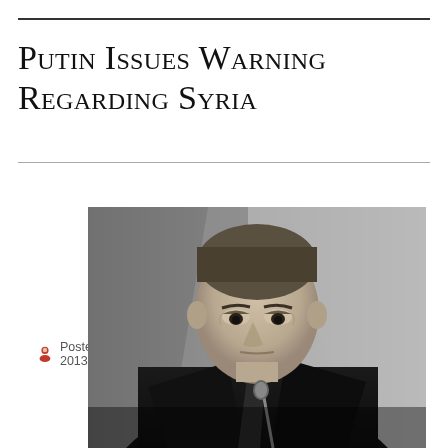Putin Issues Warning Regarding Syria
Posted by I. M. Citizen on September 5, 2013   Internet News
[Figure (photo): Black and white photograph of Vladimir Putin in a dark suit and tie, looking downward with a serious expression, seated at a table with a microphone visible in the foreground.]